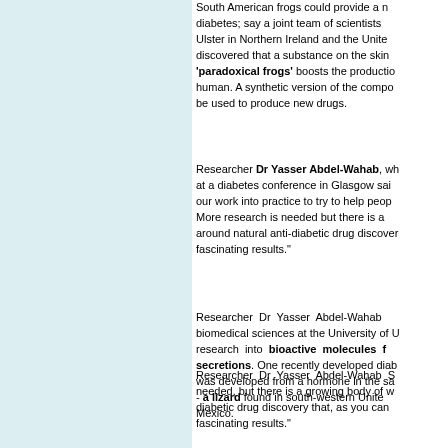South American frogs could provide a new treatment for diabetes; say a joint team of scientists from the University of Ulster in Northern Ireland and the United States, who discovered that a substance on the skin of so-called 'paradoxical frogs' boosts the production of insulin in human. A synthetic version of the compound could eventually be used to produce new drugs.
Researcher Dr Yasser Abdel-Wahab, who was speaking at a diabetes conference in Glasgow said: "We want to put our work into practice to try to help people with diabetes. More research is needed but there is a growing body of work around natural anti-diabetic drug discovery that, as you can see, fascinating results."
Researcher Dr Yasser Abdel-Wahab S... biomedical sciences at the University of Ulster... research into bioactive molecules from amphibian secretions. One recently developed diab... was developed from a hormone in the sa... - a lizard found in south-western Unite... Mexico.
Researcher Dr Yasser Abdel-Wahab S... needed, but there is a growing body of w... diabetic drug discovery that, as you can... fascinating results."